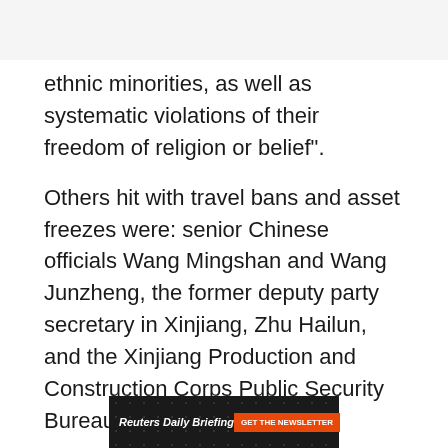ethnic minorities, as well as systematic violations of their freedom of religion or belief".
Others hit with travel bans and asset freezes were: senior Chinese officials Wang Mingshan and Wang Junzheng, the former deputy party secretary in Xinjiang, Zhu Hailun, and the Xinjiang Production and Construction Corps Public Security Bureau.
Advertisement · Scroll to continue
[Figure (other): Reuters Daily Briefing newsletter advertisement banner with dark background and orange button]